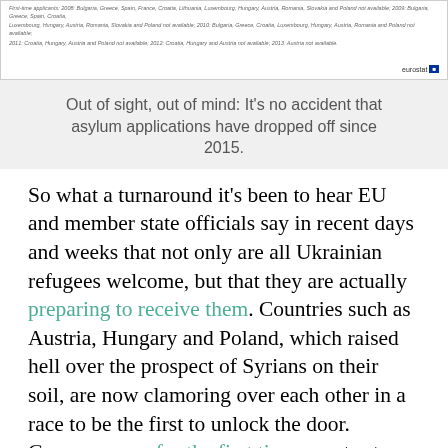[Figure (other): Cropped bottom portion of a Eurostat chart showing footnote lines about data availability for various countries, with the Eurostat logo in the bottom right.]
Out of sight, out of mind: It's no accident that asylum applications have dropped off since 2015.
So what a turnaround it's been to hear EU and member state officials say in recent days and weeks that not only are all Ukrainian refugees welcome, but that they are actually preparing to receive them. Countries such as Austria, Hungary and Poland, which raised hell over the prospect of Syrians on their soil, are now clamoring over each other in a race to be the first to unlock the door. Germany may for the first time ever try to trigger a legal clause that would grant arrivals protection without them having to apply for it.